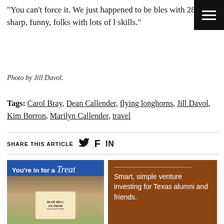“You can’t force it. We just happened to be bles with 28 really sharp, funny, folks with lots of l skills.”
Photo by Jill Davol.
Tags: Carol Bray, Dean Callender, flying longhorns, Jill Davol, Kim Borron, Marilyn Callender, travel
SHARE THIS ARTICLE
[Figure (infographic): Blue Bell Ice Cream advertisement: You’re in for a Treat]
[Figure (infographic): Brown background ad: Smart, simple venture investing for Texas alumni and friends.]